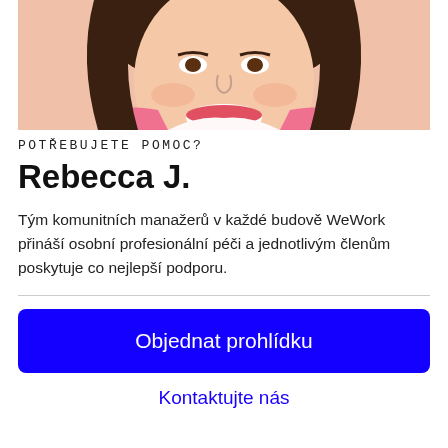[Figure (photo): Photo of a smiling woman with dark hair wearing a pink blazer, cropped to show face and upper body]
POTŘEBUJETE POMOC?
Rebecca J.
Tým komunitních manažerů v každé budově WeWork přináší osobní profesionální péči a jednotlivým členům poskytuje co nejlepší podporu.
Objednat prohlídku
Kontaktujte nás